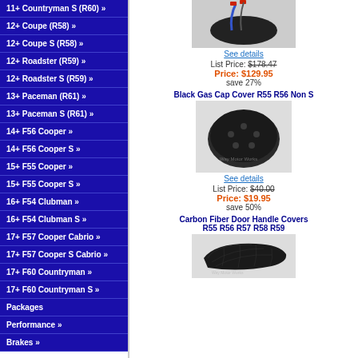11+ Countryman S (R60) »
12+ Coupe (R58) »
12+ Coupe S (R58) »
12+ Roadster (R59) »
12+ Roadster S (R59) »
13+ Paceman (R61) »
13+ Paceman S (R61) »
14+ F56 Cooper »
14+ F56 Cooper S »
15+ F55 Cooper »
15+ F55 Cooper S »
16+ F54 Clubman »
16+ F54 Clubman S »
17+ F57 Cooper Cabrio »
17+ F57 Cooper S Cabrio »
17+ F60 Countryman »
17+ F60 Countryman S »
Packages
Performance »
Brakes »
[Figure (photo): Product image - antenna or cable with red connectors on dark circular base]
See details
List Price: $178.47
Price: $129.95
save 27%
Black Gas Cap Cover R55 R56 Non S
[Figure (photo): Black circular gas cap cover with holes]
See details
List Price: $40.00
Price: $19.95
save 50%
Carbon Fiber Door Handle Covers R55 R56 R57 R58 R59
[Figure (photo): Carbon fiber door handle cover - curved black piece with carbon weave texture]